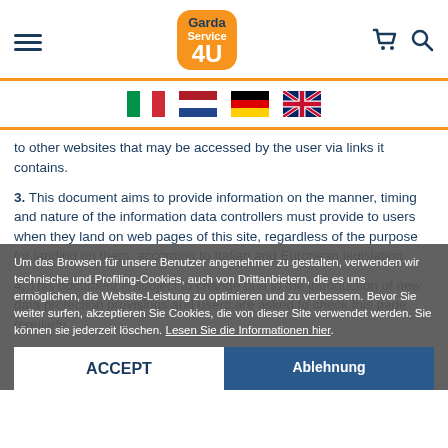Garda Service 4U – Navigation header with logo, hamburger menu, cart and search icons
[Figure (other): Row of four country flags: Italy, Netherlands, Germany, United Kingdom]
to other websites that may be accessed by the user via links it contains.
3. This document aims to provide information on the manner, timing and nature of the information data controllers must provide to users when they land on web pages of this site, regardless of the purpose for landing on them, according to Italian and European legislation.
4. This document is subject to change due to the introduction of new data protection provisions and users are asked to check this page regularly.
Um das Browsen für unsere Benutzer angenehmer zu gestalten, verwenden wir technische und Profiling-Cookies, auch von Drittanbietern, die es uns ermöglichen, die Website-Leistung zu optimieren und zu verbessern. Bevor Sie weiter surfen, akzeptieren Sie Cookies, die von dieser Site verwendet werden. Sie können sie jederzeit löschen. Lesen Sie die Informationen hier.
5. If the user is under 16 years of age, in accordance with Art. 8, paragraph 1 of EU Regulation 2016/679, his or her parents are required to provide consent instead.